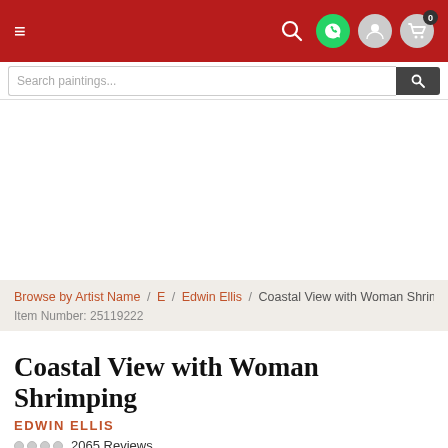≡  [search icon] [whatsapp icon] [user icon] [cart icon 0]
Browse by Artist Name / E / Edwin Ellis / Coastal View with Woman Shrimpi
Item Number: 25119222
Coastal View with Woman Shrimping
EDWIN ELLIS
2065 Reviews
Get hand painted museum quality reproduction of "Coastal View with Woman Shrimping" by Edwin Ellis. The Reproduction will be